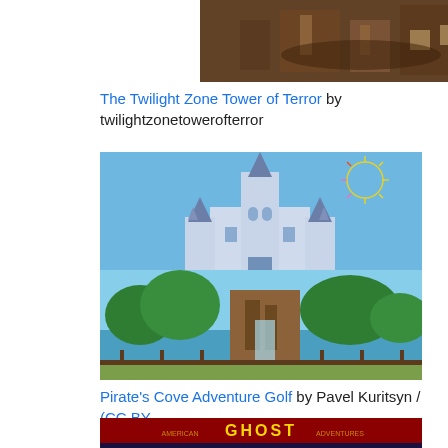[Figure (photo): The Twilight Zone Tower of Terror — photo of interior/exterior of the ride attraction]
The Twilight Zone Tower of Terror by twilightzonetowerofterror
[Figure (photo): Magic Kingdom Park — photo of Cinderella Castle with fireworks and blue sky]
Magic Kingdom Park by Rick Shu / (CC BY-SA 3.0)
[Figure (photo): Pirate's Cove Adventure Golf — photo of the outdoor mini-golf attraction with water and trees]
Pirate's Cove Adventure Golf by Pavel Kuritsyn / (CC BY 3.0)
[Figure (photo): Ghost Adventures — promotional image with group photo]